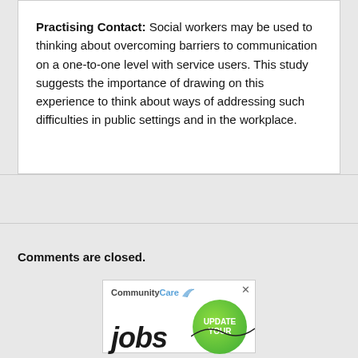Practising Contact: Social workers may be used to thinking about overcoming barriers to communication on a one-to-one level with service users. This study suggests the importance of drawing on this experience to think about ways of addressing such difficulties in public settings and in the workplace.
Comments are closed.
[Figure (other): CommunityCare Jobs advertisement with logo, 'jobs' text, and 'UPDATE YOUR' green circle button]